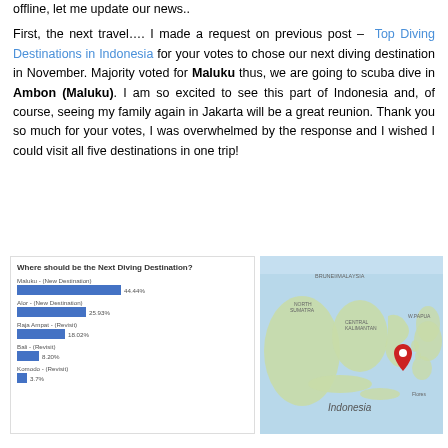offline, let me update our news..
First, the next travel…. I made a request on previous post – Top Diving Destinations in Indonesia for your votes to chose our next diving destination in November. Majority voted for Maluku thus, we are going to scuba dive in Ambon (Maluku). I am so excited to see this part of Indonesia and, of course, seeing my family again in Jakarta will be a great reunion. Thank you so much for your votes, I was overwhelmed by the response and I wished I could visit all five destinations in one trip!
[Figure (bar-chart): Where should be the Next Diving Destination?]
[Figure (map): Google map showing Indonesia with a red pin marker on Ambon/Maluku region]